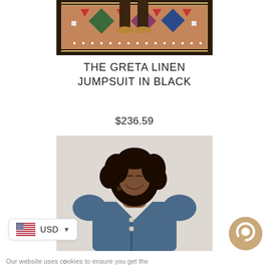[Figure (photo): Top portion of a colorful patterned rug/kilim with a person's legs standing on it, product photo for a jumpsuit]
THE GRETA LINEN JUMPSUIT IN BLACK
$236.59
[Figure (photo): Woman with curly hair smiling, wearing a blue linen jumpsuit with buttons, product photo]
USD ▼
Our website uses cookies to ensure you get the